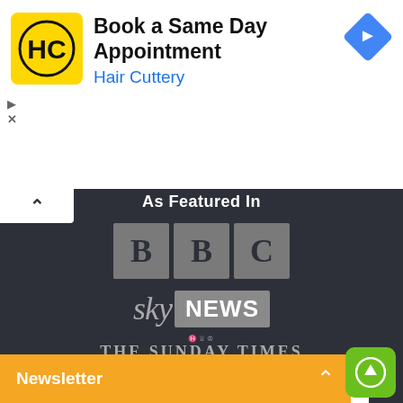[Figure (screenshot): Hair Cuttery advertisement banner with logo and 'Book a Same Day Appointment' text]
As Featured In
[Figure (logo): BBC logo - three squares each containing the letter B, B, C]
[Figure (logo): Sky News logo]
[Figure (logo): The Sunday Times logo]
[Figure (logo): Daily Mail logo]
This website uses cookies. By continuing to use our website you agree to our Data Protection Policy, which you c...
Newsletter